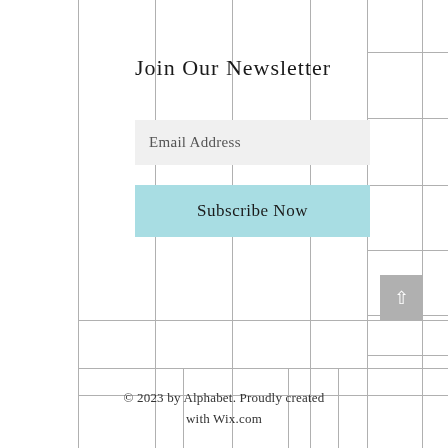Join Our Newsletter
Email Address
Subscribe Now
© 2023 by Alphabet. Proudly created with Wix.com